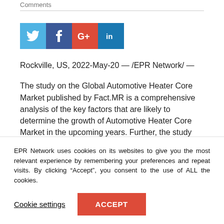Comments
[Figure (other): Social sharing buttons: Twitter (blue), Facebook (dark blue), Google+ (red), LinkedIn (blue)]
Rockville, US, 2022-May-20 — /EPR Network/ —
The study on the Global Automotive Heater Core Market published by Fact.MR is a comprehensive analysis of the key factors that are likely to determine the growth of Automotive Heater Core Market in the upcoming years. Further, the study dives deep to
EPR Network uses cookies on its websites to give you the most relevant experience by remembering your preferences and repeat visits. By clicking “Accept”, you consent to the use of ALL the cookies.
Cookie settings
ACCEPT